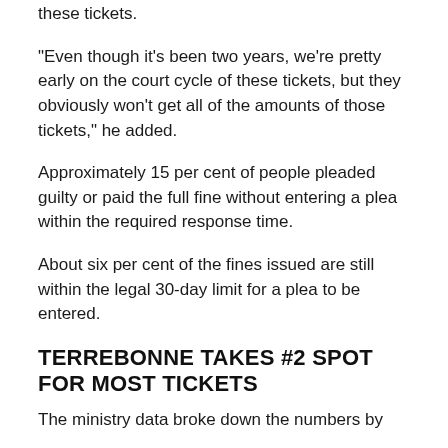these tickets.
"Even though it's been two years, we're pretty early on the court cycle of these tickets, but they obviously won't get all of the amounts of those tickets," he added.
Approximately 15 per cent of people pleaded guilty or paid the full fine without entering a plea within the required response time.
About six per cent of the fines issued are still within the legal 30-day limit for a plea to be entered.
TERREBONNE TAKES #2 SPOT FOR MOST TICKETS
The ministry data broke down the numbers by